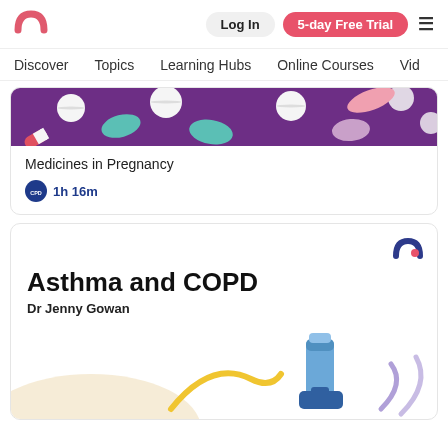Log In | 5-day Free Trial
Discover  Topics  Learning Hubs  Online Courses  Vid
[Figure (illustration): Purple banner with illustrated pills and tablets of various colours scattered on purple background]
Medicines in Pregnancy
CPD  1h 16m
[Figure (illustration): Course card for Asthma and COPD by Dr Jenny Gowan featuring an inhaler illustration with decorative yellow curve and purple arcs on a white background, with a small arc logo in top right corner]